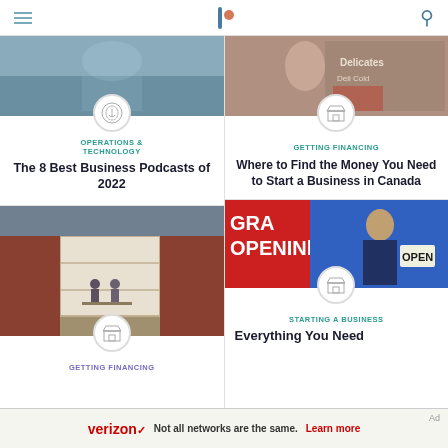The Balance — navigation header with hamburger menu, logo, and search icon
[Figure (screenshot): Person holding phone with dollar sign icon overlay — Operations & Technology article thumbnail]
OPERATIONS & TECHNOLOGY
The 8 Best Business Podcasts of 2022
[Figure (photo): Photo of a garage converted into a workspace with people sitting inside — Getting Financing article thumbnail]
GETTING FINANCING
[Figure (photo): Photo of a deli/store front with a store icon overlay — Getting Financing article thumbnail]
GETTING FINANCING
Where to Find the Money You Need to Start a Business in Canada
[Figure (photo): Photo of man at Grand Opening with store icon — Starting a Business article thumbnail]
STARTING A BUSINESS
Everything You Need
Verizon — Not all networks are the same. Learn more — Ad